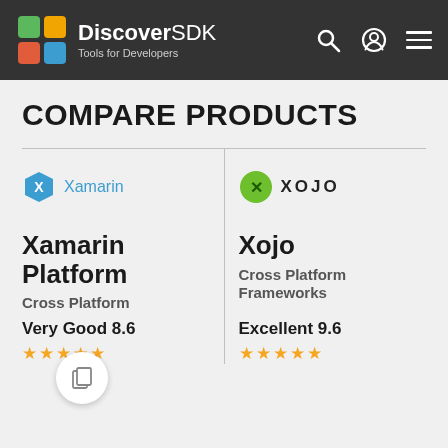DiscoverSDK - Tools for Developers
COMPARE PRODUCTS
[Figure (logo): Xamarin logo: blue hexagon with X and text 'Xamarin']
Xamarin Platform
Cross Platform
Very Good 8.6
[Figure (logo): Xojo logo: green circle with X and 'XOJO' text]
Xojo
Cross Platform Frameworks
Excellent 9.6